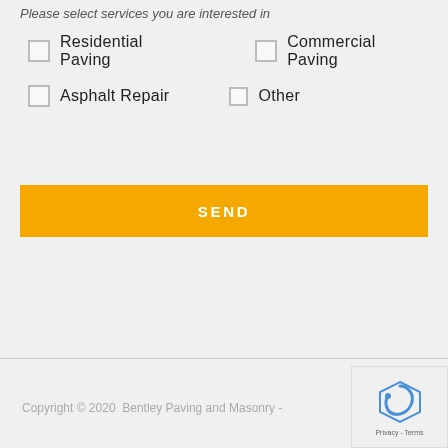Please select services you are interested in
Residential Paving
Commercial Paving
Asphalt Repair
Other
SEND
Copyright © 2020  Bentley Paving and Masonry -